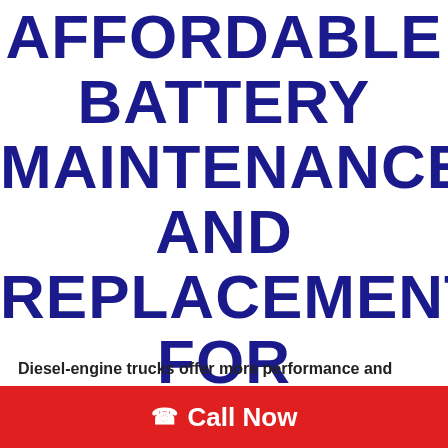AFFORDABLE BATTERY MAINTENANCE AND REPLACEMENT FOR LOUISVILLE DRIVERS
Diesel-engine trucks offer more performance and
Call Now